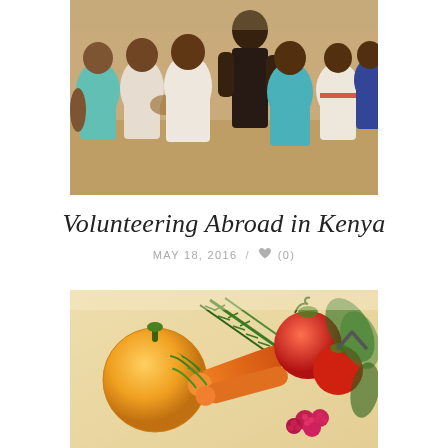[Figure (photo): Group of African children gathered together, viewed from behind and sides, some wearing colorful clothing including white, teal, pink, yellow, and dark shirts]
Volunteering Abroad in Kenya
MAY 18, 2016 / ♥ (0)
[Figure (photo): Close-up of fresh vegetables and fruits including orange bell pepper, carrots, rosemary, tomatoes, and raspberries]